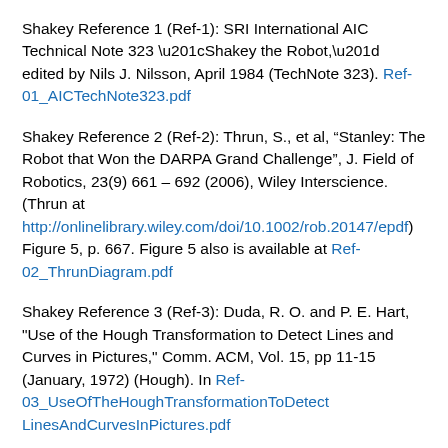Shakey Reference 1 (Ref-1): SRI International AIC Technical Note 323 “Shakey the Robot,” edited by Nils J. Nilsson, April 1984 (TechNote 323). Ref-01_AICTechNote323.pdf
Shakey Reference 2 (Ref-2): Thrun, S., et al, “Stanley: The Robot that Won the DARPA Grand Challenge”, J. Field of Robotics, 23(9) 661 – 692 (2006), Wiley Interscience. (Thrun at http://onlinelibrary.wiley.com/doi/10.1002/rob.20147/epdf) Figure 5, p. 667. Figure 5 also is available at Ref-02_ThrunDiagram.pdf
Shakey Reference 3 (Ref-3): Duda, R. O. and P. E. Hart, "Use of the Hough Transformation to Detect Lines and Curves in Pictures," Comm. ACM, Vol. 15, pp 11-15 (January, 1972) (Hough). In Ref-03_UseOfTheHoughTransformationToDetectLinesAndCurvesInPictures.pdf